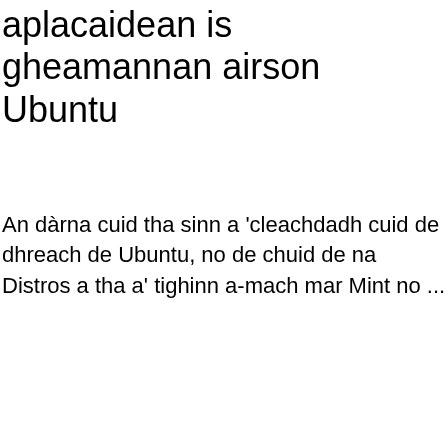aplacaidean is gheamannan airson Ubuntu
An dàrna cuid tha sinn a 'cleachdadh cuid de dhreach de Ubuntu, no de chuid de na Distros a tha a' tighinn a-mach mar Mint no ...